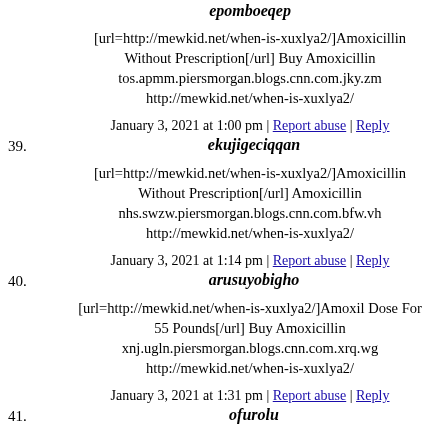epomboeqep
[url=http://mewkid.net/when-is-xuxlya2/]Amoxicillin Without Prescription[/url] Buy Amoxicillin tos.apmm.piersmorgan.blogs.cnn.com.jky.zm http://mewkid.net/when-is-xuxlya2/
January 3, 2021 at 1:00 pm | Report abuse | Reply
39. ekujigeciqqan
[url=http://mewkid.net/when-is-xuxlya2/]Amoxicillin Without Prescription[/url] Amoxicillin nhs.swzw.piersmorgan.blogs.cnn.com.bfw.vh http://mewkid.net/when-is-xuxlya2/
January 3, 2021 at 1:14 pm | Report abuse | Reply
40. arusuyobigho
[url=http://mewkid.net/when-is-xuxlya2/]Amoxil Dose For 55 Pounds[/url] Buy Amoxicillin xnj.ugln.piersmorgan.blogs.cnn.com.xrq.wg http://mewkid.net/when-is-xuxlya2/
January 3, 2021 at 1:31 pm | Report abuse | Reply
41. ofurolu